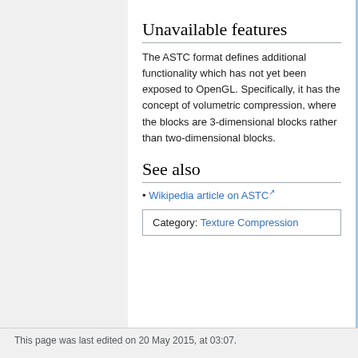Unavailable features
The ASTC format defines additional functionality which has not yet been exposed to OpenGL. Specifically, it has the concept of volumetric compression, where the blocks are 3-dimensional blocks rather than two-dimensional blocks.
See also
Wikipedia article on ASTC
Category:  Texture Compression
This page was last edited on 20 May 2015, at 03:07.